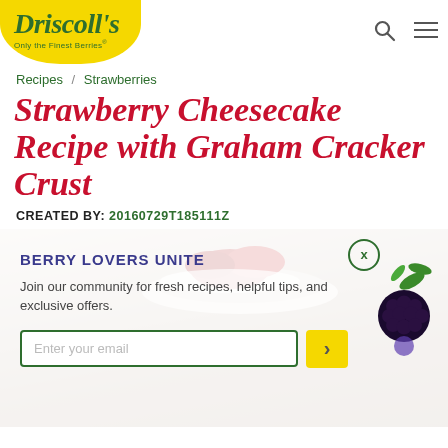Driscoll's — Only the Finest Berries
Recipes / Strawberries
Strawberry Cheesecake Recipe with Graham Cracker Crust
CREATED BY: 20160729T185111Z
[Figure (photo): Strawberry cheesecake with whipped cream topping and strawberry garnish, overlaid with a newsletter signup popup. Popup has title 'BERRY LOVERS UNITE', text 'Join our community for fresh recipes, helpful tips, and exclusive offers.', an email input field, and a yellow submit button. A blackberry image appears on the right side of the popup.]